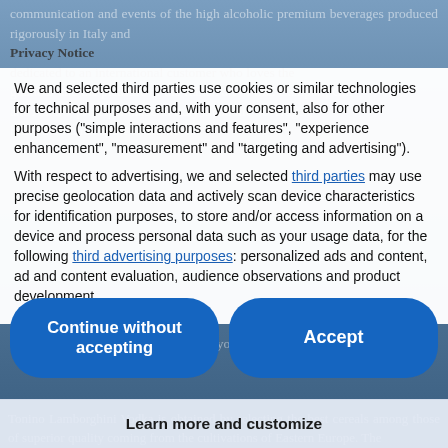communication and events of the high alcoholic premium beverages produced rigorously in Italy and dedicated to an international customer who loves the glamour and the pleasure of the Italian art of life. Campari, Gin and Amaro, principal made in Italy alcoholic beverages, bring the Italian spirit to the world.
Privacy Notice
We and selected third parties use cookies or similar technologies for technical purposes and, with your consent, also for other purposes ("simple interactions and features", "experience enhancement", "measurement" and "targeting and advertising").
With respect to advertising, we and selected third parties may use precise geolocation data and actively scan device characteristics for identification purposes, to store and/or access information on a device and process personal data such as your usage data, for the following third advertising purposes: personalized ads and content, ad and content evaluation, audience observations and product development.
You can freely give, refuse, or revoke your consent at any time.
Continue without accepting
Accept
Learn more and customize
Tonino Lamborghini Vodka is obtained by selecting the best cereals among those of superior quality coming from the cultivations of Eastern Europe. The